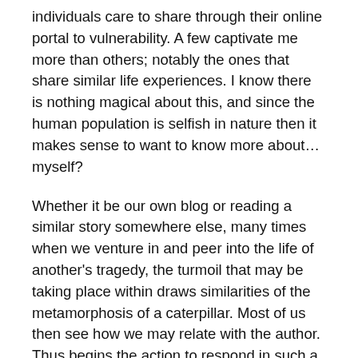individuals care to share through their online portal to vulnerability. A few captivate me more than others; notably the ones that share similar life experiences. I know there is nothing magical about this, and since the human population is selfish in nature then it makes sense to want to know more about… myself?
Whether it be our own blog or reading a similar story somewhere else, many times when we venture in and peer into the life of another's tragedy, the turmoil that may be taking place within draws similarities of the metamorphosis of a caterpillar. Most of us then see how we may relate with the author. Thus begins the action to respond in such a way to draw encouragement, advise, and praise. Hopefully followed by prayer.
What I feel, or what I am feeling is hurt. Empathy, if